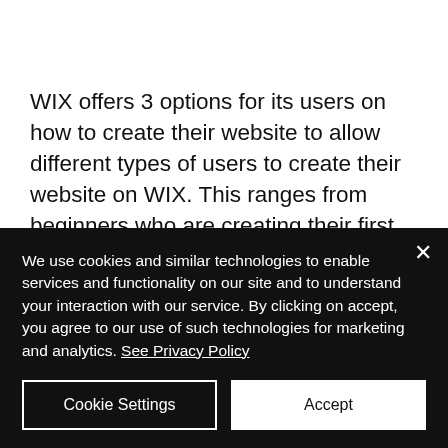WIX offers 3 options for its users on how to create their website to allow different types of users to create their website on WIX. This ranges from beginners who are creating their first website to professional agencies who
We use cookies and similar technologies to enable services and functionality on our site and to understand your interaction with our service. By clicking on accept, you agree to our use of such technologies for marketing and analytics. See Privacy Policy
Cookie Settings
Accept